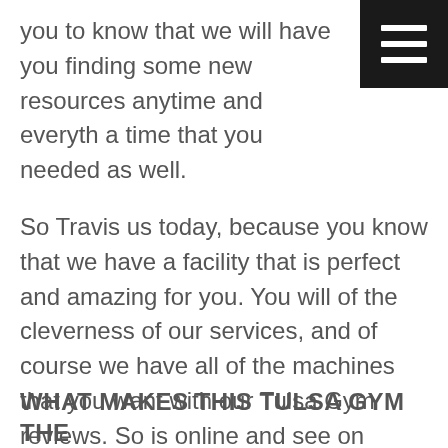you to know that we will have you finding some new resources anytime and everything a time that you needed as well.
So Travis us today, because you know that we have a facility that is perfect and amazing for you. You will of the cleverness of our services, and of course we have all of the machines that you want with our Tulsa Gym reviews. So is online and see on thehubgym.com exactly which one is perfect for you. You can also as a call on 918-994-4299 to reserve a free tour. We know that we have perfect experiences of able to, and that is why you will of us.
WHAT MAKES THIS TULSA GYM THE